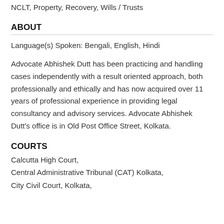NCLT, Property, Recovery, Wills / Trusts
ABOUT
Language(s) Spoken: Bengali, English, Hindi
Advocate Abhishek Dutt has been practicing and handling cases independently with a result oriented approach, both professionally and ethically and has now acquired over 11 years of professional experience in providing legal consultancy and advisory services. Advocate Abhishek Dutt's office is in Old Post Office Street, Kolkata.
COURTS
Calcutta High Court,
Central Administrative Tribunal (CAT) Kolkata,
City Civil Court, Kolkata,